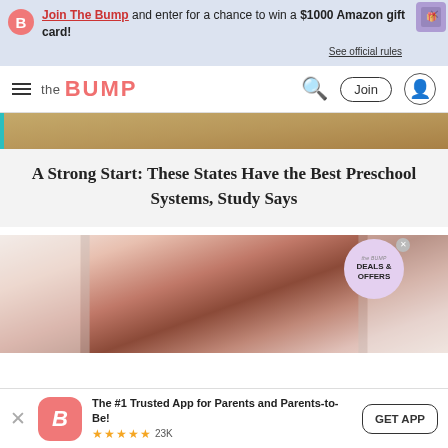Join The Bump and enter for a chance to win a $1000 Amazon gift card! See official rules
the BUMP — navigation bar with search, Join button, and user icon
[Figure (photo): Partial image of a floor scene with warm tones at the top of article card]
A Strong Start: These States Have the Best Preschool Systems, Study Says
[Figure (photo): Blurred close-up photo of a sleeping baby in a crib with pink/white tones; Deals & Offers popup badge visible]
The #1 Trusted App for Parents and Parents-to-Be! ★★★★★ 23K — GET APP